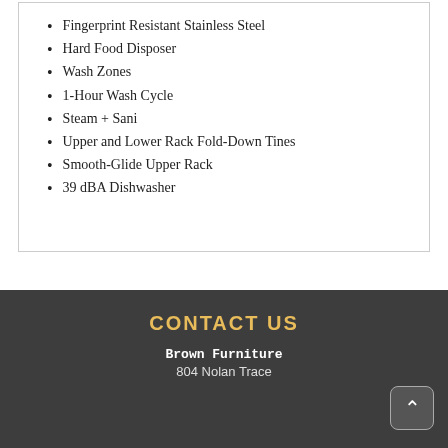Fingerprint Resistant Stainless Steel
Hard Food Disposer
Wash Zones
1-Hour Wash Cycle
Steam + Sani
Upper and Lower Rack Fold-Down Tines
Smooth-Glide Upper Rack
39 dBA Dishwasher
CONTACT US
Brown Furniture
804 Nolan Trace